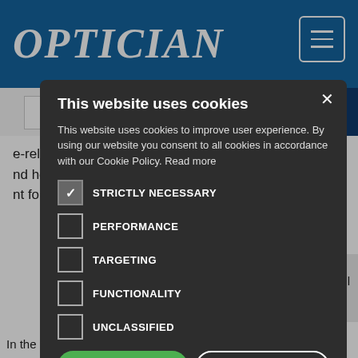OPTICIAN
[Figure (screenshot): Cookie consent modal dialog on the Optician website. The modal has a dark background and contains the title 'This website uses cookies', a description, cookie category checkboxes (STRICTLY NECESSARY checked, PERFORMANCE, TARGETING, FUNCTIONALITY, UNCLASSIFIED unchecked), ACCEPT ALL and DECLINE ALL buttons, and a SHOW DETAILS option.]
In the third in our series on refraction, Tina Patel begins to look